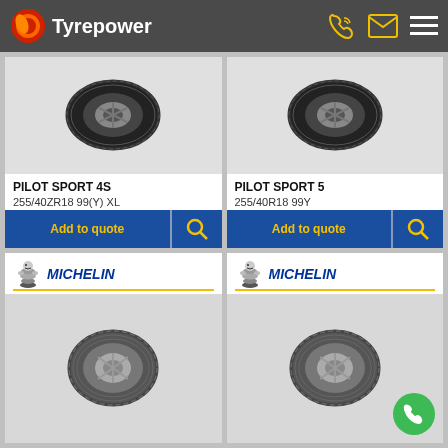Tyrepower
[Figure (screenshot): Tyrepower website product listing showing Michelin Pilot Sport 4S and Pilot Sport 5 tires with Add to quote buttons, and two more Michelin tire product cards below]
PILOT SPORT 4S
255/40ZR18 99(Y) XL
Add to quote
PILOT SPORT 5
255/40R18 99Y
Add to quote